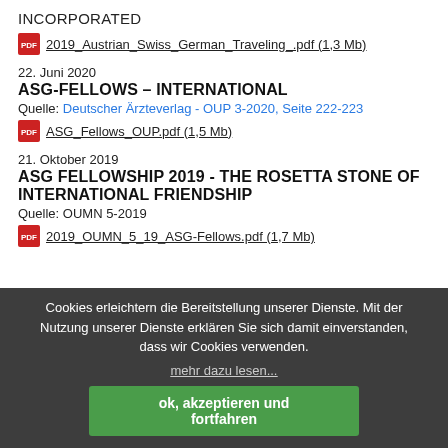INCORPORATED
2019_Austrian_Swiss_German_Traveling_.pdf (1,3 Mb)
22. Juni 2020
ASG-FELLOWS – INTERNATIONAL
Quelle: Deutscher Ärzteverlag - OUP 3-2020, Seite 222-223
ASG_Fellows_OUP.pdf (1,5 Mb)
21. Oktober 2019
ASG FELLOWSHIP 2019 - THE ROSETTA STONE OF INTERNATIONAL FRIENDSHIP
Quelle: OUMN 5-2019
2019_OUMN_5_19_ASG-Fellows.pdf (1,7 Mb)
Cookies erleichtern die Bereitstellung unserer Dienste. Mit der Nutzung unserer Dienste erklären Sie sich damit einverstanden, dass wir Cookies verwenden.
mehr dazu lesen...
ok, akzeptieren und fortfahren